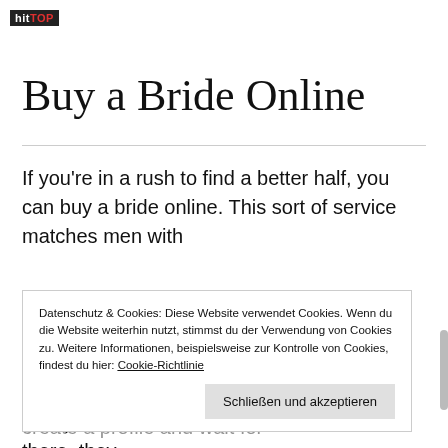hitTOP
Buy a Bride Online
If you're in a rush to find a better half, you can buy a bride online. This sort of service matches men with
Datenschutz & Cookies: Diese Website verwendet Cookies. Wenn du die Website weiterhin nutzt, stimmst du der Verwendung von Cookies zu. Weitere Informationen, beispielsweise zur Kontrolle von Cookies, findest du hier: Cookie-Richtlinie
Schließen und akzeptieren
acceptance of their consideration. From there, they